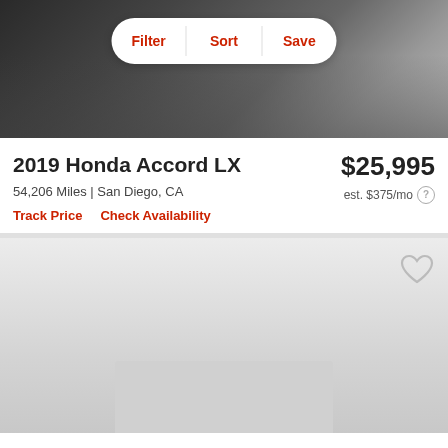[Figure (photo): Dark colored Honda Accord car viewed from front/side angle in a parking area, with filter/sort/save toolbar overlaid]
2019 Honda Accord LX
$25,995
54,206 Miles | San Diego, CA
est. $375/mo
Track Price   Check Availability
[Figure (photo): Next car listing area with light gray background, heart/favorite icon in top right, and advertisement placeholder at bottom]